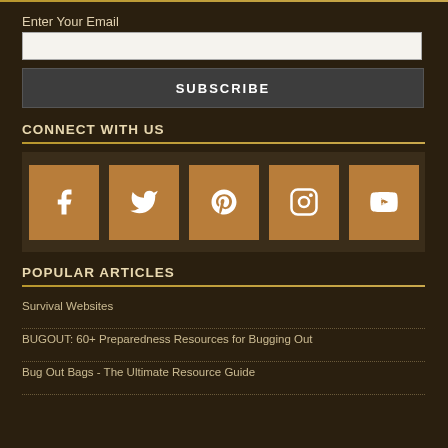Enter Your Email
SUBSCRIBE
CONNECT WITH US
[Figure (infographic): Social media icons: Facebook, Twitter, Pinterest, Instagram, YouTube displayed as brown square buttons]
POPULAR ARTICLES
Survival Websites
BUGOUT: 60+ Preparedness Resources for Bugging Out
Bug Out Bags - The Ultimate Resource Guide